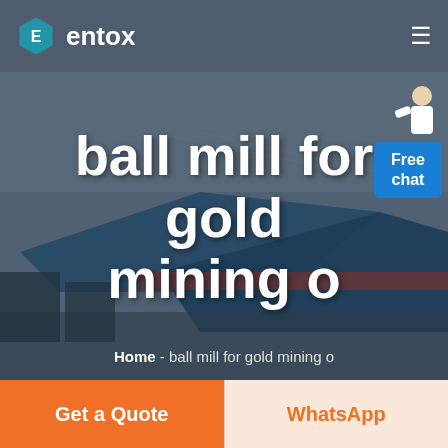entox
[Figure (photo): Aerial photograph of a large industrial facility/factory complex with blue-roofed warehouse buildings, viewed from above, with a dark overlay tint]
ball mill for gold mining o
Home  -  ball mill for gold mining o
Get a Quote
WhatsApp